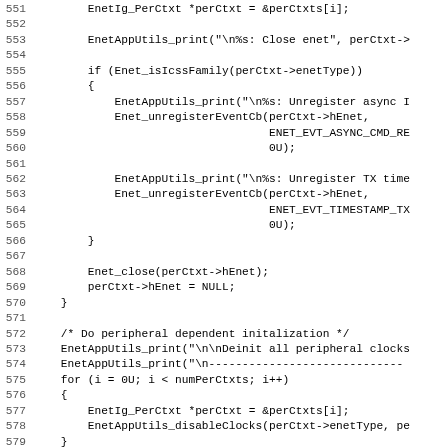[Figure (screenshot): Source code listing showing C code for Ethernet peripheral deinitialization, lines 551-582, including EnetIg_PerCtxt, EnetAppUtils_print, Enet_isIcssFamily, Enet_unregisterEventCb, Enet_close, loop for peripheral clocks, and semaphore deletion.]